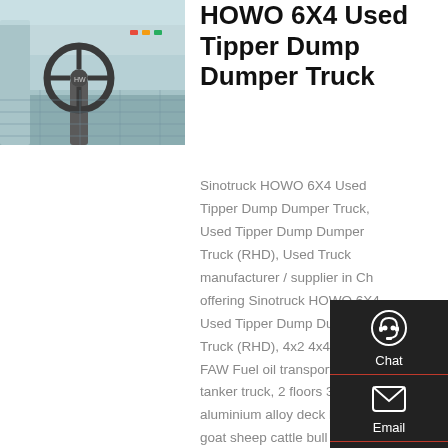[Figure (photo): Interior cab photo of a HOWO truck showing steering wheel and dashboard]
HOWO 6X4 Used Tipper Dump Dumper Truck
Sinotruck HOWO 6X4 Used Tipper Dump Dumper Truck, Used Tipper Dump Dumper Truck (RHD), Used Truck manufacturer / supplier in China, offering Sinotruck HOWO 6X4 Used Tipper Dump Dumper Truck (RHD), 4x2 4x4 6x4 8x4 FAW Fuel oil transport tank truck tanker truck, 2 floors 3 floors aluminium alloy deck live pig hog goat sheep cattle bull livestock